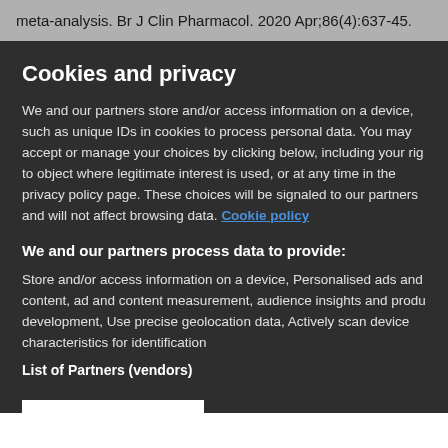meta-analysis. Br J Clin Pharmacol. 2020 Apr;86(4):637-45.
Cookies and privacy
We and our partners store and/or access information on a device, such as unique IDs in cookies to process personal data. You may accept or manage your choices by clicking below, including your rig to object where legitimate interest is used, or at any time in the privacy policy page. These choices will be signaled to our partners and will not affect browsing data. Cookie policy
We and our partners process data to provide:
Store and/or access information on a device, Personalised ads and content, ad and content measurement, audience insights and produ development, Use precise geolocation data, Actively scan device characteristics for identification
List of Partners (vendors)
I Accept